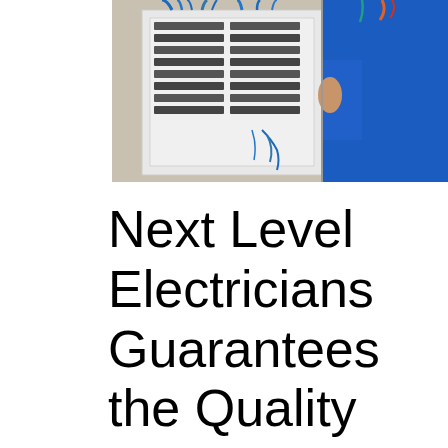[Figure (photo): An electrician in a blue uniform working on an electrical panel/fuse box with many wires and circuit breakers visible]
Next Level Electricians Guarantees the Quality and the Safety of Electrical